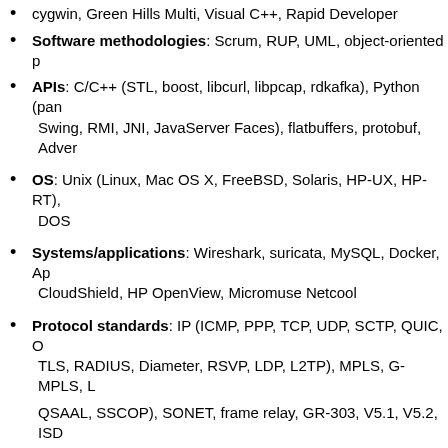cygwin, Green Hills Multi, Visual C++, Rapid Developer
Software methodologies: Scrum, RUP, UML, object-oriented p...
APIs: C/C++ (STL, boost, libcurl, libpcap, rdkafka), Python (pand... Swing, RMI, JNI, JavaServer Faces), flatbuffers, protobuf, Adver...
OS: Unix (Linux, Mac OS X, FreeBSD, Solaris, HP-UX, HP-RT),... DOS
Systems/applications: Wireshark, suricata, MySQL, Docker, Ap... CloudShield, HP OpenView, Micromuse Netcool
Protocol standards: IP (ICMP, PPP, TCP, UDP, SCTP, QUIC, O... TLS, RADIUS, Diameter, RSVP, LDP, L2TP), MPLS, G-MPLS, L... QSAAL, SSCOP), SONET, frame relay, GR-303, V5.1, V5.2, ISD...
Protocol testers: TRex, Ixia, Catapult
Processors: Motorola (680x0, PowerPC), Microchip PIC microc...
AWARDS
Distinctive Entry, Circuit Cellar Mad Dash for Flash Cash Contes...
Contributor Award, Hewlett-Packard Journal (1994)
Teleglobe Canada (1990-91)